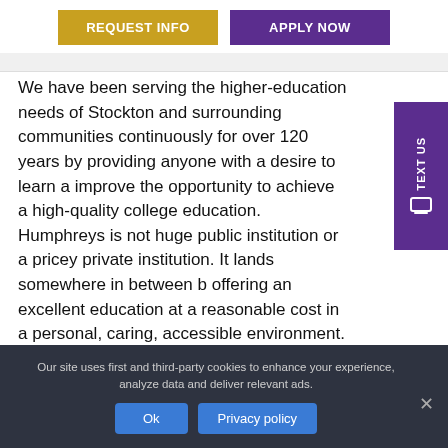REQUEST INFO | APPLY NOW
We have been serving the higher-education needs of Stockton and surrounding communities continuously for over 120 years by providing anyone with a desire to learn and improve the opportunity to achieve a high-quality college education. Humphreys is not a huge public institution or a pricey private institution. It lands somewhere in between by offering an excellent education at a reasonable cost in a personal, caring, accessible environment.
Our site uses first and third-party cookies to enhance your experience, analyze data and deliver relevant ads.
Ok | Privacy policy